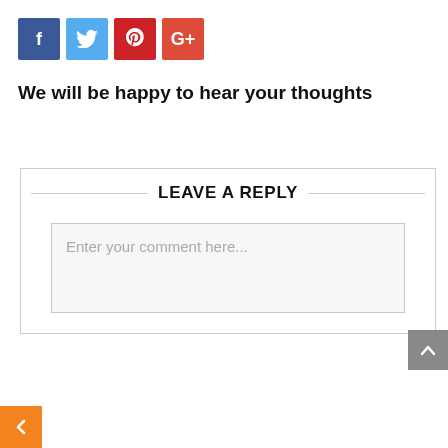[Figure (other): Social media share buttons: Facebook (blue), Twitter (light blue), Pinterest (dark red), Google+ (orange-red)]
We will be happy to hear your thoughts
LEAVE A REPLY
Enter your comment here...